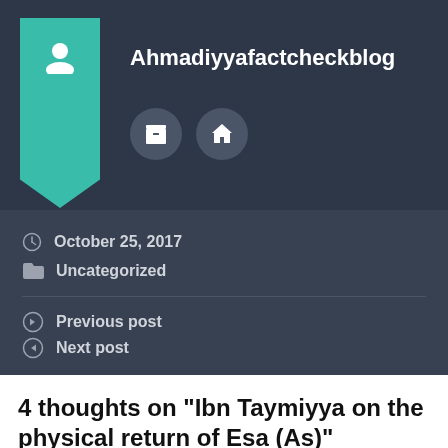Ahmadiyyafactcheckblog
October 25, 2017
Uncategorized
Previous post
Next post
4 thoughts on “Ibn Taymiyya on the physical return of Esa (As)”